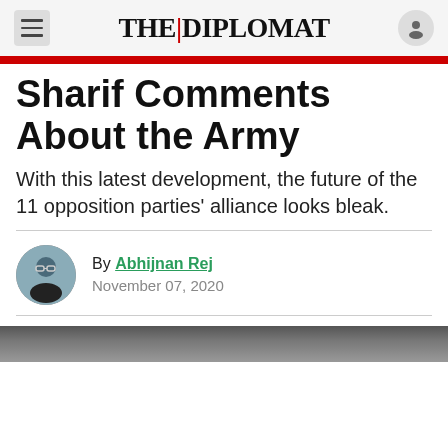THE DIPLOMAT
Sharif Comments About the Army
With this latest development, the future of the 11 opposition parties' alliance looks bleak.
By Abhijnan Rej
November 07, 2020
[Figure (photo): Partial view of a photograph at the bottom of the page]